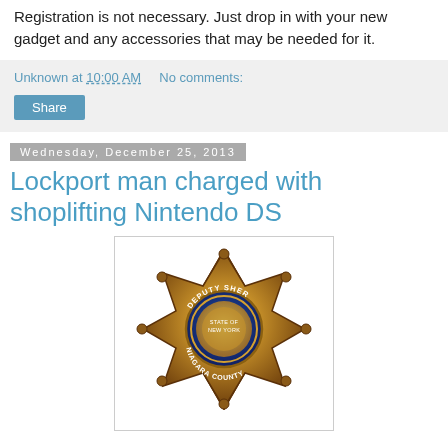Registration is not necessary. Just drop in with your new gadget and any accessories that may be needed for it.
Unknown at 10:00 AM   No comments:
Share
Wednesday, December 25, 2013
Lockport man charged with shoplifting Nintendo DS
[Figure (photo): Niagara County Deputy Sheriff gold star badge with blue enamel center medallion showing New York state seal]